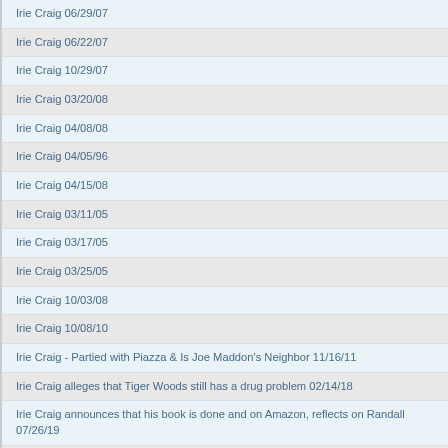Irie Craig 06/29/07
Irie Craig 06/22/07
Irie Craig 10/29/07
Irie Craig 03/20/08
Irie Craig 04/08/08
Irie Craig 04/05/96
Irie Craig 04/15/08
Irie Craig 03/11/05
Irie Craig 03/17/05
Irie Craig 03/25/05
Irie Craig 10/03/08
Irie Craig 10/08/10
Irie Craig - Partied with Piazza & Is Joe Maddon's Neighbor 11/16/11
Irie Craig alleges that Tiger Woods still has a drug problem 02/14/18
Irie Craig announces that his book is done and on Amazon, reflects on Randall 07/26/19
Irie Craig asked Rome if he will be at the Pegasus World Cup in Florida, but Rome reminded him about the Super Bowl 01/24/17
Irie Craig bet $25 on Rome's horse, won $5k, reaction from the clones 04/11/22
Irie Craig call leads to Dodger reset 11/09/07
Irie Craig called and said he is homeless, clones react with bum smack